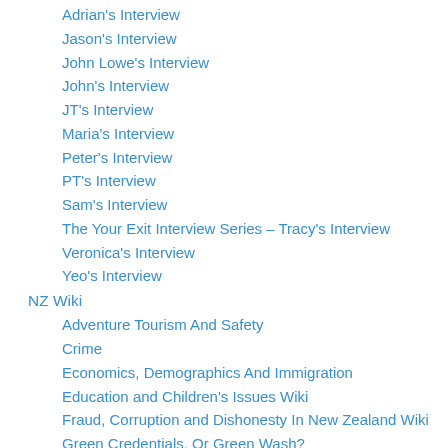Adrian's Interview
Jason's Interview
John Lowe's Interview
John's Interview
JT's Interview
Maria's Interview
Peter's Interview
PT's Interview
Sam's Interview
The Your Exit Interview Series – Tracy's Interview
Veronica's Interview
Yeo's Interview
NZ Wiki
Adventure Tourism And Safety
Crime
Economics, Demographics And Immigration
Education and Children's Issues Wiki
Fraud, Corruption and Dishonesty In New Zealand Wiki
Green Credentials, Or Green Wash?
Health And Death